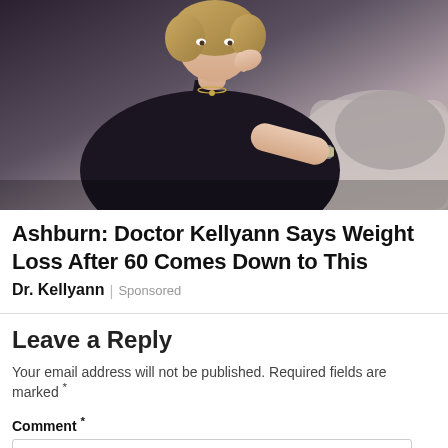[Figure (photo): Woman with blonde hair wearing a black wrap-style top, sitting on a gray couch, with hand near her face and wearing a watch and necklace]
Ashburn: Doctor Kellyann Says Weight Loss After 60 Comes Down to This
Dr. Kellyann | Sponsored
Leave a Reply
Your email address will not be published. Required fields are marked *
Comment *